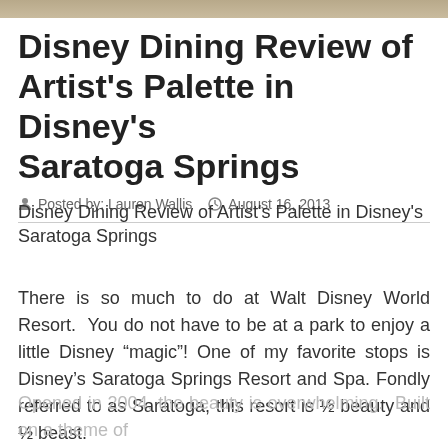[Figure (photo): Decorative header image strip in tan/beige tones]
Disney Dining Review of Artist’s Palette in Disney’s Saratoga Springs
Posted by: Lauren Wallis   August 16, 2013
Disney Dining Review of Artist’s Palette in Disney’s Saratoga Springs
There is so much to do at Walt Disney World Resort.  You do not have to be at a park to enjoy a little Disney “magic”! One of my favorite stops is Disney’s Saratoga Springs Resort and Spa. Fondly referred to as Saratoga, this resort is ½ beauty and ½ beast. Opened in 2004, the beauty is overwhelming. Built on a theme of